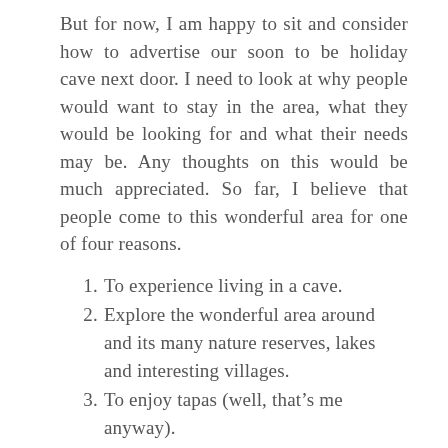But for now, I am happy to sit and consider how to advertise our soon to be holiday cave next door. I need to look at why people would want to stay in the area, what they would be looking for and what their needs may be. Any thoughts on this would be much appreciated. So far, I believe that people come to this wonderful area for one of four reasons.
1. To experience living in a cave.
2. Explore the wonderful area around and its many nature reserves, lakes and interesting villages.
3. To enjoy tapas (well, that’s me anyway).
4. To relax in an area of beauty and tranquility with a good book and a glass of wine.
Our cave is in just the right location to do all four and much more so hopefully we can provide something